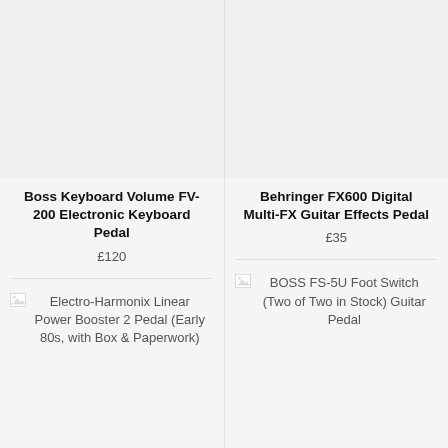[Figure (photo): Product image placeholder for Boss Keyboard Volume FV-200 Electronic Keyboard Pedal]
Boss Keyboard Volume FV-200 Electronic Keyboard Pedal
£120
[Figure (photo): Product image placeholder for Electro-Harmonix Linear Power Booster 2 Pedal (Early 80s, with Box & Paperwork)]
Electro-Harmonix Linear Power Booster 2 Pedal (Early 80s, with Box & Paperwork)
[Figure (photo): Product image placeholder for Behringer FX600 Digital Multi-FX Guitar Effects Pedal]
Behringer FX600 Digital Multi-FX Guitar Effects Pedal
£35
[Figure (photo): Product image placeholder for BOSS FS-5U Foot Switch (Two of Two in Stock) Guitar Pedal]
BOSS FS-5U Foot Switch (Two of Two in Stock) Guitar Pedal